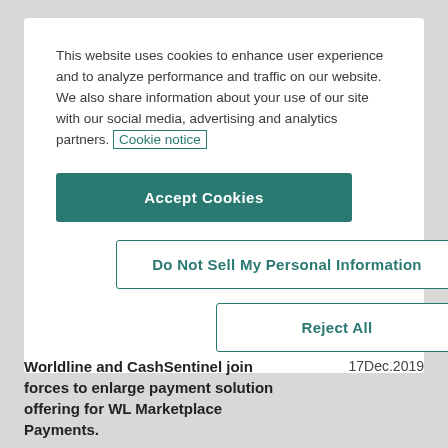This website uses cookies to enhance user experience and to analyze performance and traffic on our website. We also share information about your use of our site with our social media, advertising and analytics partners. Cookie notice
Accept Cookies
Do Not Sell My Personal Information
Reject All
Worldline and CashSentinel join forces to enlarge payment solution offering for WL Marketplace Payments.
17Dec.2019